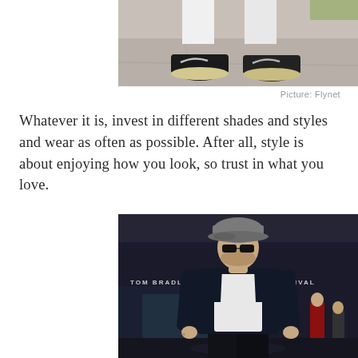[Figure (photo): Cropped photo showing the lower half of a person wearing black Nike sneakers with gold/tan soles, walking on pavement]
Picture: Flynet
Whatever it is, invest in different shades and styles and wear as often as possible. After all, style is about enjoying how you look, so trust in what you love.
[Figure (photo): Man wearing a grey flat cap, dark sunglasses, black bomber jacket over white t-shirt, standing outside Tom Bradley International Arrivals at LAX airport]